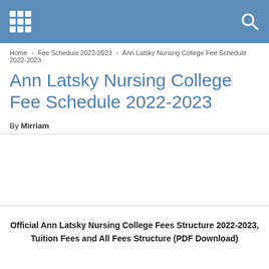Ann Latsky Nursing College Fee Schedule 2022-2023
Home > Fee Schedule 2022-2023 > Ann Latsky Nursing College Fee Schedule 2022-2023
Ann Latsky Nursing College Fee Schedule 2022-2023
By Mirriam
Official Ann Latsky Nursing College Fees Structure 2022-2023, Tuition Fees and All Fees Structure (PDF Download)